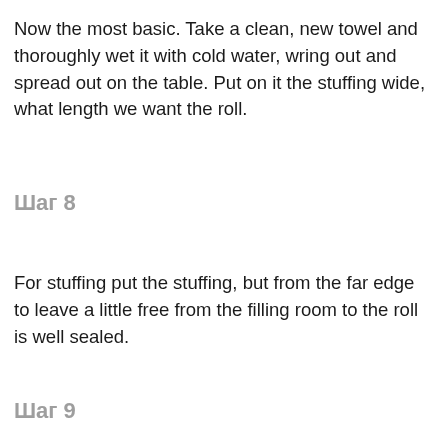Now the most basic. Take a clean, new towel and thoroughly wet it with cold water, wring out and spread out on the table. Put on it the stuffing wide, what length we want the roll.
Шаг 8
For stuffing put the stuffing, but from the far edge to leave a little free from the filling room to the roll is well sealed.
Шаг 9